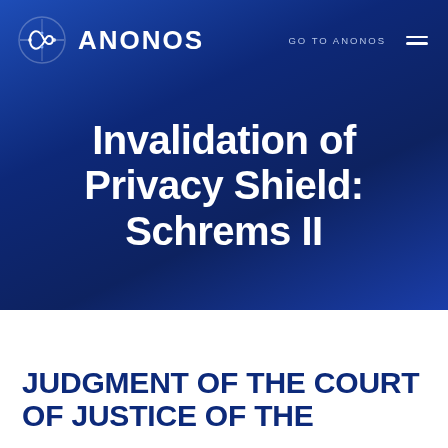[Figure (logo): Anonos logo with infinity symbol and ANONOS text, navigation bar with GO TO ANONOS link and hamburger menu on dark blue gradient background]
Invalidation of Privacy Shield: Schrems II
JUDGMENT OF THE COURT OF JUSTICE OF THE